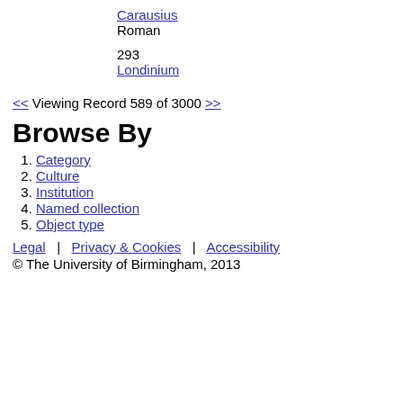Carausius
Roman
293
Londinium
<< Viewing Record 589 of 3000 >>
Browse By
Category
Culture
Institution
Named collection
Object type
Legal | Privacy & Cookies | Accessibility
© The University of Birmingham, 2013